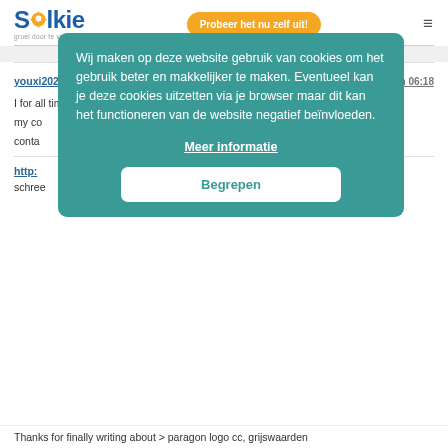Solkie — Probeer het nu zelf uit!
youxi2020.cn schreef: 15 april 2022 om 06:18
I for all time emailed this web site post page to all my co…
conta…
[Figure (screenshot): Cookie consent overlay with teal background reading: Wij maken op deze website gebruik van cookies om het gebruik beter en makkelijker te maken. Eventueel kan je deze cookies uitzetten via je browser maar dit kan het functioneren van de website negatief beïnvloeden. With links Meer informatie and button Begrepen.]
http:…
schree…
Thanks for finally writing about > paragon logo cc, grijswaarden